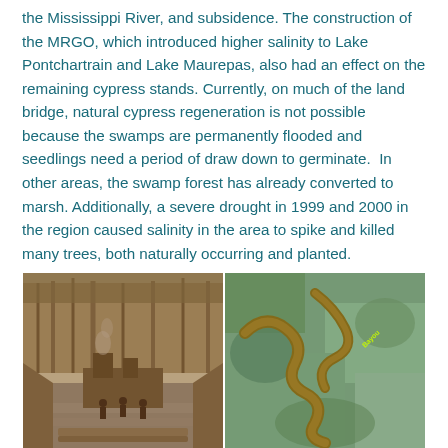the Mississippi River, and subsidence. The construction of the MRGO, which introduced higher salinity to Lake Pontchartrain and Lake Maurepas, also had an effect on the remaining cypress stands. Currently, on much of the land bridge, natural cypress regeneration is not possible because the swamps are permanently flooded and seedlings need a period of draw down to germinate.  In other areas, the swamp forest has already converted to marsh. Additionally, a severe drought in 1999 and 2000 in the region caused salinity in the area to spike and killed many trees, both naturally occurring and planted.
[Figure (photo): Two-panel image. Left: Historical sepia-toned photograph of logging operations using a pullboat in a Louisiana bayou canal with cypress trees in background. Right: Aerial/satellite map view showing a meandering bayou/river with green vegetation and a yellow label text.]
Logging Historic logging operations using a pullboat in a Louisiana bayou. The huge steam engine drove a drum which